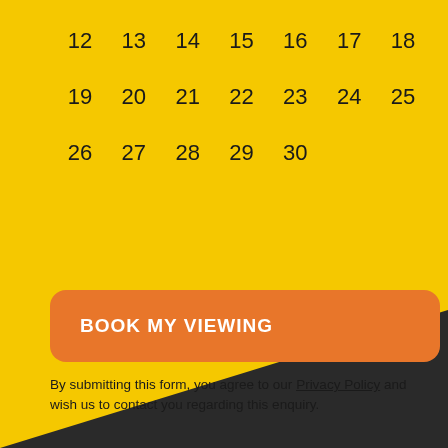| 12 | 13 | 14 | 15 | 16 | 17 | 18 |
| 19 | 20 | 21 | 22 | 23 | 24 | 25 |
| 26 | 27 | 28 | 29 | 30 |  |  |
BOOK MY VIEWING
By submitting this form, you agree to our Privacy Policy and wish us to contact you regarding this enquiry.